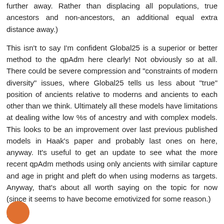further away. Rather than displacing all populations, true ancestors and non-ancestors, an additional equal extra distance away.)
This isn't to say I'm confident Global25 is a superior or better method to the qpAdm here clearly! Not obviously so at all. There could be severe compression and "constraints of modern diversity" issues, where Global25 tells us less about "true" position of ancients relative to moderns and ancients to each other than we think. Ultimately all these models have limitations at dealing withe low %s of ancestry and with complex models. This looks to be an improvement over last previous published models in Haak's paper and probably last ones on here, anyway. It's useful to get an update to see what the more recent qpAdm methods using only ancients with similar capture and age in pright and pleft do when using moderns as targets. Anyway, that's about all worth saying on the topic for now (since it seems to have become emotivized for some reason.)
Reply